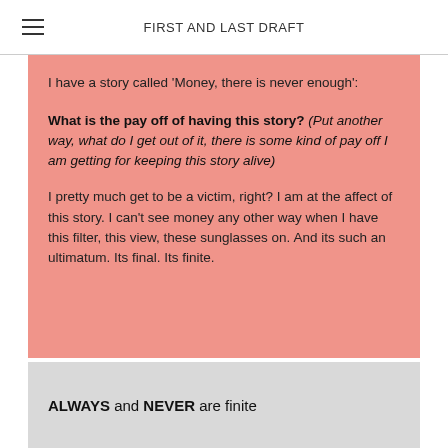FIRST AND LAST DRAFT
I have a story called 'Money, there is never enough':
What is the pay off of having this story? (Put another way, what do I get out of it, there is some kind of pay off I am getting for keeping this story alive)
I pretty much get to be a victim, right? I am at the affect of this story. I can't see money any other way when I have this filter, this view, these sunglasses on. And its such an ultimatum. Its final. Its finite.
ALWAYS and NEVER are finite